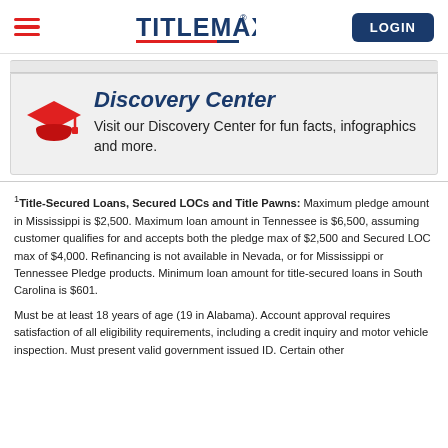TitleMax — LOGIN
[Figure (illustration): Discovery Center promotional card with graduation cap icon, bold italic blue heading 'Discovery Center', and body text 'Visit our Discovery Center for fun facts, infographics and more.']
1 Title-Secured Loans, Secured LOCs and Title Pawns: Maximum pledge amount in Mississippi is $2,500. Maximum loan amount in Tennessee is $6,500, assuming customer qualifies for and accepts both the pledge max of $2,500 and Secured LOC max of $4,000. Refinancing is not available in Nevada, or for Mississippi or Tennessee Pledge products. Minimum loan amount for title-secured loans in South Carolina is $601.
Must be at least 18 years of age (19 in Alabama). Account approval requires satisfaction of all eligibility requirements, including a credit inquiry and motor vehicle inspection. Must present valid government issued ID. Certain other eligibility requirements and restrictions may apply.